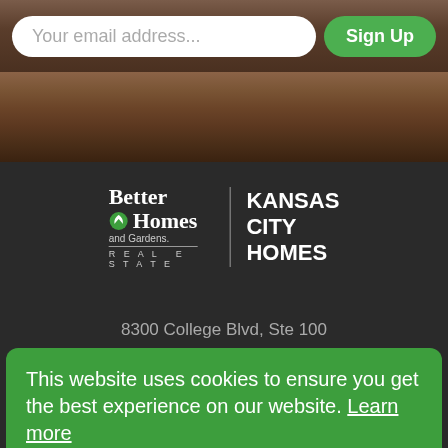[Figure (screenshot): Email input field with placeholder 'Your email address...' and a green 'Sign Up' button on a wood-texture background]
[Figure (logo): Better Homes and Gardens Real Estate | KANSAS CITY HOMES logo in white on dark background]
8300 College Blvd, Ste 100
This website uses cookies to ensure you get the best experience on our website. Learn more
Got it!
Home Search